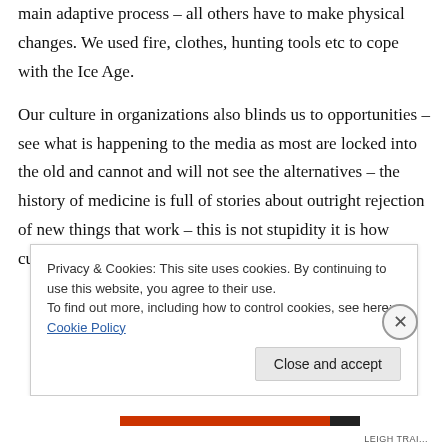main adaptive process – all others have to make physical changes. We used fire, clothes, hunting tools etc to cope with the Ice Age.
Our culture in organizations also blinds us to opportunities – see what is happening to the media as most are locked into the old and cannot and will not see the alternatives – the history of medicine is full of stories about outright rejection of new things that work – this is not stupidity it is how cultures work.
Privacy & Cookies: This site uses cookies. By continuing to use this website, you agree to their use.
To find out more, including how to control cookies, see here: Cookie Policy